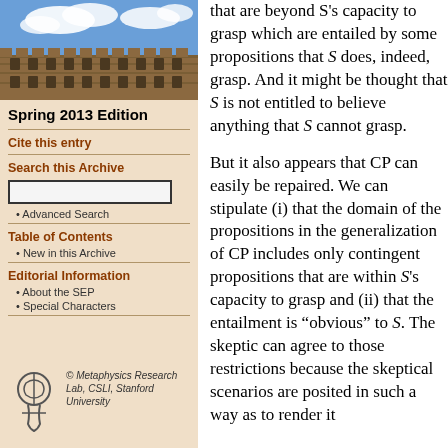[Figure (photo): Aerial or ground-level photograph of a stone university building with gothic architecture and a blue sky with clouds]
Spring 2013 Edition
Cite this entry
Search this Archive
Advanced Search
Table of Contents
New in this Archive
Editorial Information
About the SEP
Special Characters
© Metaphysics Research Lab, CSLI, Stanford University
that are beyond S's capacity to grasp which are entailed by some propositions that S does, indeed, grasp. And it might be thought that S is not entitled to believe anything that S cannot grasp.
But it also appears that CP can easily be repaired. We can stipulate (i) that the domain of the propositions in the generalization of CP includes only contingent propositions that are within S's capacity to grasp and (ii) that the entailment is “obvious” to S. The skeptic can agree to those restrictions because the skeptical scenarios are posited in such a way as to render it